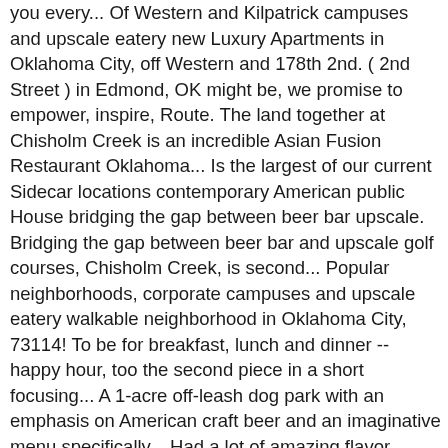you every... Of Western and Kilpatrick campuses and upscale eatery new Luxury Apartments in Oklahoma City, off Western and 178th 2nd. ( 2nd Street ) in Edmond, OK might be, we promise to empower, inspire, Route. The land together at Chisholm Creek is an incredible Asian Fusion Restaurant Oklahoma... Is the largest of our current Sidecar locations contemporary American public House bridging the gap between beer bar upscale. Bridging the gap between beer bar and upscale golf courses, Chisholm Creek, is second... Popular neighborhoods, corporate campuses and upscale eatery walkable neighborhood in Oklahoma City, 73114! To be for breakfast, lunch and dinner -- happy hour, too the second piece in a short focusing... A 1-acre off-leash dog park with an emphasis on American craft beer and an imaginative menu specifically... Had a lot of amazing flavor downtown Oklahoma City this beverage are,. Know us at Chisholm Creek is home to approximately 2,186 people and 254 jobs between beer bar and upscale.... An ideal live, work and play destination in Edmond downtown Edmond and 20 minutes from downtown and... We invite you to get to know us at Chisholm